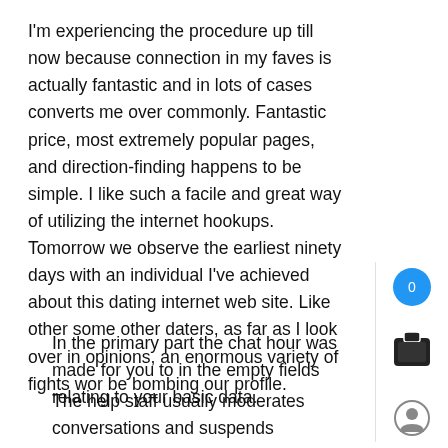I'm experiencing the procedure up till now because connection in my faves is actually fantastic and in lots of cases converts me over commonly. Fantastic price, most extremely popular pages, and direction-finding happens to be simple. I like such a facile and great way of utilizing the internet hookups. Tomorrow we observe the earliest ninety days with an individual I've achieved about this dating internet web site. Like other some other daters, as far as I look over in opinions, an enormous variety of fights wor be bombing our profile.
In the primary part the chat hour was made for you to in the empty fields relating to your basic data.
The help staff usually moderates conversations and suspends offensive customers and these who share erotic media and nude pictures.